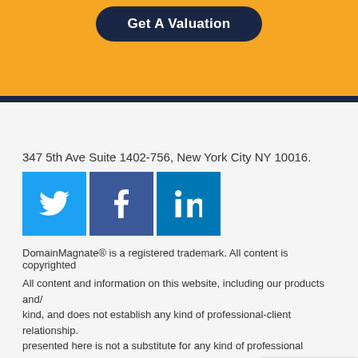[Figure (other): Orange banner section with a dark navy rounded button labeled 'Get A Valuation']
347 5th Ave Suite 1402-756, New York City NY 10016.
[Figure (other): Social media icons: Twitter (blue bird), Facebook (blue f), LinkedIn (blue in)]
DomainMagnate® is a registered trademark. All content is copyrighted
All content and information on this website, including our products and/or kind, and does not establish any kind of professional-client relationship. presented here is not a substitute for any kind of professional advice, a circumstances prior to making any professional, legal or fin
INVEST
Buy and Manage Service